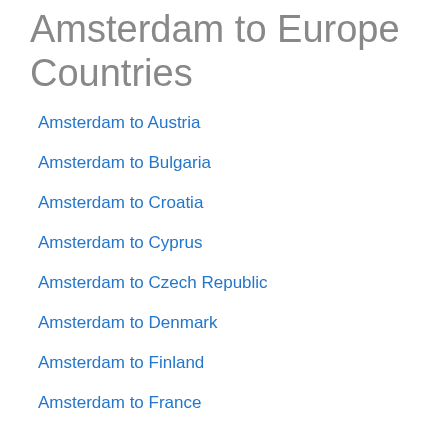Amsterdam to Europe Countries
Amsterdam to Austria
Amsterdam to Bulgaria
Amsterdam to Croatia
Amsterdam to Cyprus
Amsterdam to Czech Republic
Amsterdam to Denmark
Amsterdam to Finland
Amsterdam to France